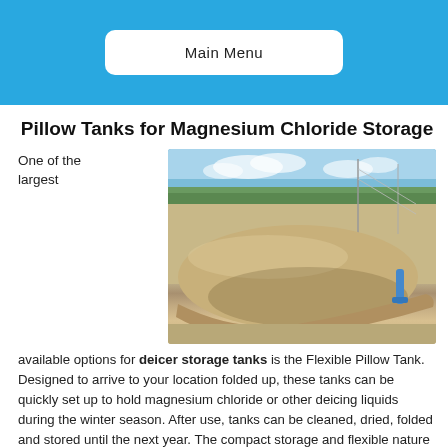Main Menu
Pillow Tanks for Magnesium Chloride Storage
One of the largest
[Figure (photo): Large flexible pillow tank (bladder tank) resting on a flat surface outdoors, with trees and sky in background. Tan/khaki colored inflated bladder with a blue strap visible on the right side.]
available options for deicer storage tanks is the Flexible Pillow Tank. Designed to arrive to your location folded up, these tanks can be quickly set up to hold magnesium chloride or other deicing liquids during the winter season. After use, tanks can be cleaned, dried, folded and stored until the next year. The compact storage and flexible nature of a pillow tank makes it a perfect option for short term liquid storage. With small